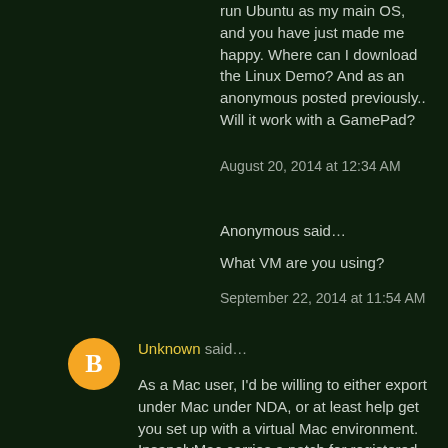run Ubuntu as my main OS, and you have just made me happy. Where can I download the Linux Demo? And as an anonymous posted previously.. Will it work with a GamePad?
August 20, 2014 at 12:34 AM
Anonymous said…
What VM are you using?
September 22, 2014 at 11:54 AM
Unknown said…
As a Mac user, I'd be willing to either export under Mac under NDA, or at least help get you set up with a virtual Mac environment. InsanelyMac carries a patch for registered (free) users, that can patch VMWare Workstation and Player for Windows to support running Mac VMs, and thus can run OS X like it would on a real Mac, without any Hackintosh drivers or boot loaders.